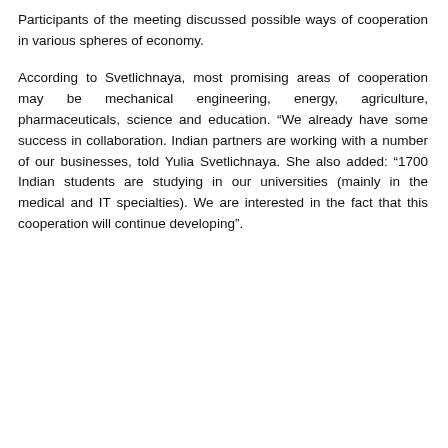Participants of the meeting discussed possible ways of cooperation in various spheres of economy.
According to Svetlichnaya, most promising areas of cooperation may be mechanical engineering, energy, agriculture, pharmaceuticals, science and education. “We already have some success in collaboration. Indian partners are working with a number of our businesses, told Yulia Svetlichnaya. She also added: “1700 Indian students are studying in our universities (mainly in the medical and IT specialties). We are interested in the fact that this cooperation will continue developing”.